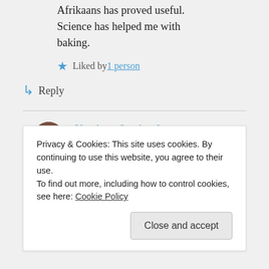Afrikaans has proved useful. Science has helped me with baking.
Liked by 1 person
↳ Reply
Norah on October 9, 2019 at 9:23 pm
Thank you, Robbie.
Privacy & Cookies: This site uses cookies. By continuing to use this website, you agree to their use.
To find out more, including how to control cookies, see here: Cookie Policy
Close and accept
rather cheeky 😅)